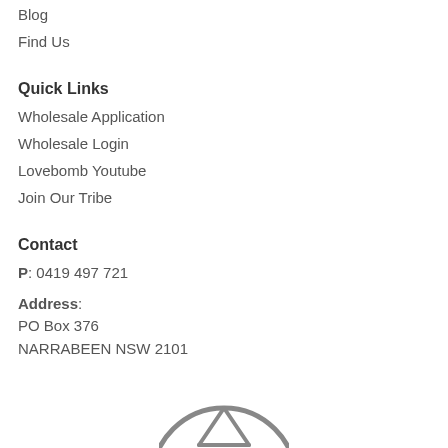Blog
Find Us
Quick Links
Wholesale Application
Wholesale Login
Lovebomb Youtube
Join Our Tribe
Contact
P: 0419 497 721
Address:
PO Box 376
NARRABEEN NSW 2101
[Figure (logo): Partial circular logo graphic at bottom center of page]